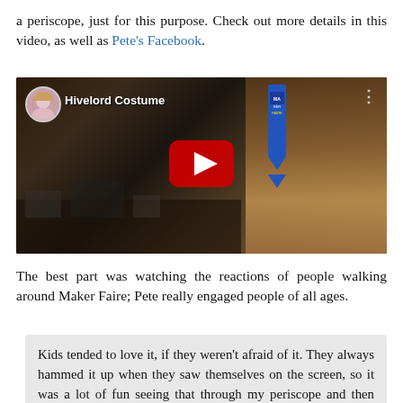a periscope, just for this purpose. Check out more details in this video, as well as Pete's Facebook.
[Figure (screenshot): YouTube video thumbnail showing 'Hivelord Costume' with a play button, avatar icon, and cluttered workshop background with blue ribbon]
The best part was watching the reactions of people walking around Maker Faire; Pete really engaged people of all ages.
Kids tended to love it, if they weren't afraid of it. They always hammed it up when they saw themselves on the screen, so it was a lot of fun seeing that through my periscope and then timing it right to take their picture. I was